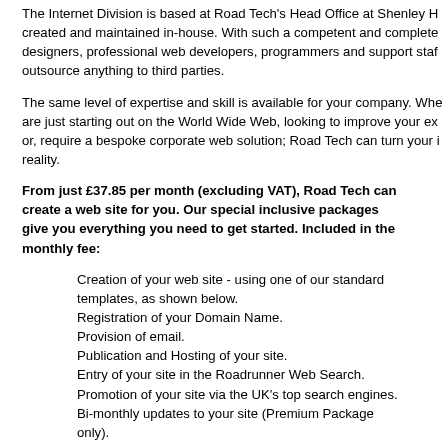The Internet Division is based at Road Tech's Head Office at Shenley H... created and maintained in-house. With such a competent and complete... designers, professional web developers, programmers and support staf... outsource anything to third parties.
The same level of expertise and skill is available for your company. Whe... are just starting out on the World Wide Web, looking to improve your ex... or, require a bespoke corporate web solution; Road Tech can turn your i... reality.
From just £37.85 per month (excluding VAT), Road Tech can create a web site for you. Our special inclusive packages give you everything you need to get started. Included in the monthly fee:
Creation of your web site - using one of our standard templates, as shown below.
Registration of your Domain Name.
Provision of email.
Publication and Hosting of your site.
Entry of your site in the Roadrunner Web Search.
Promotion of your site via the UK's top search engines.
Bi-monthly updates to your site (Premium Package only).
Contact us to find out more and to discover new ways t